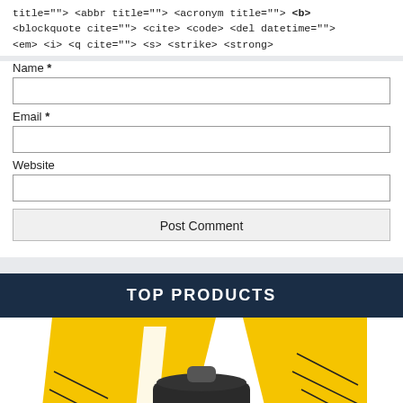title=""> <abbr title=""> <acronym title=""> <b> <blockquote cite=""> <cite> <code> <del datetime=""> <em> <i> <q cite=""> <s> <strike> <strong>
Name *
Email *
Website
Post Comment
TOP PRODUCTS
[Figure (photo): Ninja blender/kitchen appliance product image on yellow background with diagonal geometric shapes and diagonal black lines]